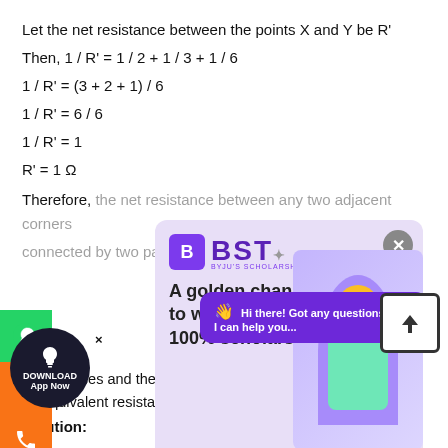Let the net resistance between the points X and Y be R'
Therefore, the net resistance between any two adjacent corners connected by two parallel paths is 1Ω
Let the net resistance between...
Then, R...
AB = 3...
Questi...
equal pieces and then they are joined in parallel.
the equivalent resistance of the parallel combination
Solution:
[Figure (illustration): BST (Byju's Scholarship Test) advertisement popup with purple background, logo, tagline 'A golden chance to win up to a 100% scholarship!', a student photo, and a Register button]
[Figure (illustration): Chat popup with purple background: 'Hi there! Got any questions? I can help you...']
[Figure (illustration): Download App Now circular button, WhatsApp icon, share icon, phone icon on left sidebar]